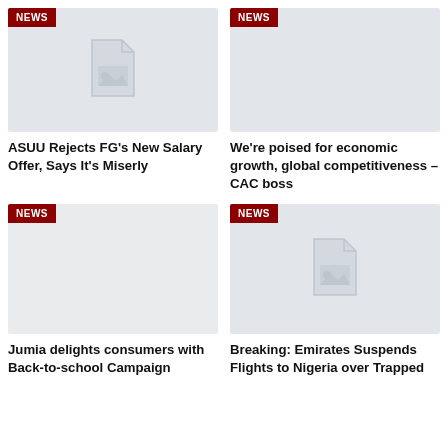[Figure (photo): News card image placeholder with document icon, NEWS badge top-left]
ASUU Rejects FG's New Salary Offer, Says It's Miserly
[Figure (photo): News card image placeholder (blank), NEWS badge top-left]
We're poised for economic growth, global competitiveness – CAC boss
[Figure (photo): News card image placeholder (blank), NEWS badge top-left]
Jumia delights consumers with Back-to-school Campaign
[Figure (photo): News card image placeholder with document icon, NEWS badge top-left]
Breaking: Emirates Suspends Flights to Nigeria over Trapped